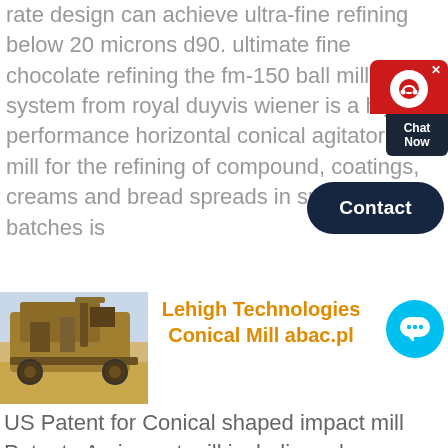rate design can achieve ultra-fine refining below 20 microns d90. ultimate fine chocolate refining the fm-150 ball mill system from royal duyvis wiener is a high performance horizontal conical agitator ball mill for the refining of compound, coatings, creams and bread spreads in small batches is
[Figure (screenshot): Chat widget with red bubble, close button, headset icon, dark box with 'Chat Now', and dark navy Contact button]
[Figure (photo): Industrial machinery / conical mill equipment photographed outdoors in sandy/desert environment]
Lehigh Technologies Conical Mill abac.pl
[Figure (screenshot): Cyan/blue circular chat button with ellipsis speech bubble icon]
US Patent for Conical shaped impact mill Patent . An impact mill including a base portion on which is disposed a rotor rotatably mounted in a bearing housing the rotor having an unusually aligned cylindrical